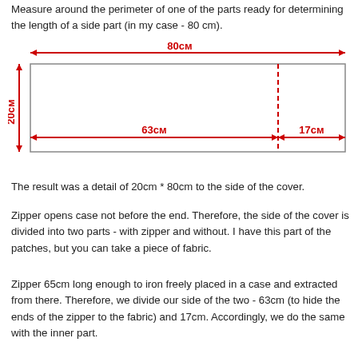Measure around the perimeter of one of the parts ready for determining the length of a side part (in my case - 80 cm).
[Figure (engineering-diagram): A rectangular diagram showing dimensions: 80cm total width with a double-headed red arrow at top, 20cm height with a double-headed red arrow on the left side, divided into two sections: 63cm (left, with red double-headed arrow) and 17cm (right, with red double-headed arrow) separated by a red dashed vertical line.]
The result was a detail of 20cm * 80cm to the side of the cover.
Zipper opens case not before the end. Therefore, the side of the cover is divided into two parts - with zipper and without. I have this part of the patches, but you can take a piece of fabric.
Zipper 65cm long enough to iron freely placed in a case and extracted from there. Therefore, we divide our side of the two - 63cm (to hide the ends of the zipper to the fabric) and 17cm. Accordingly, we do the same with the inner part.